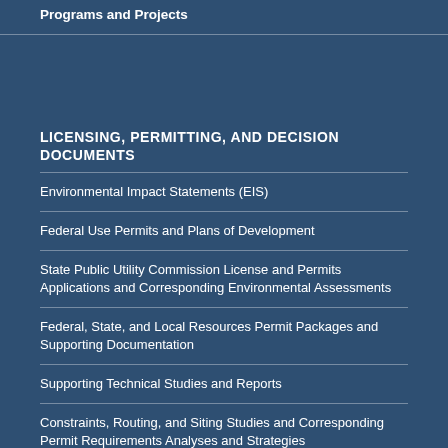Programs and Projects
LICENSING, PERMITTING, AND DECISION DOCUMENTS
Environmental Impact Statements (EIS)
Federal Use Permits and Plans of Development
State Public Utility Commission License and Permits Applications and Corresponding Environmental Assessments
Federal, State, and Local Resources Permit Packages and Supporting Documentation
Supporting Technical Studies and Reports
Constraints, Routing, and Siting Studies and Corresponding Permit Requirements Analyses and Strategies